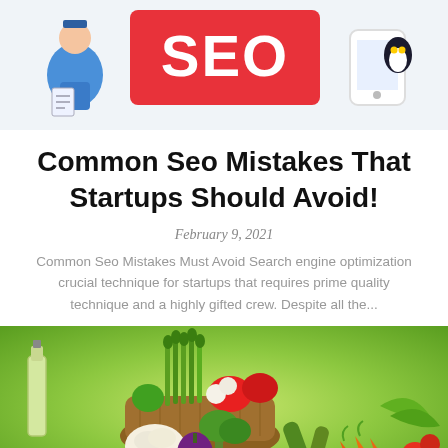[Figure (illustration): SEO themed banner with cartoon characters and large red SEO text block]
Common Seo Mistakes That Startups Should Avoid!
February 9, 2021
Common Seo Mistakes Must Avoid Search engine optimization crucial technique for startups that requires prime quality technique and a highly gifted crew. Despite all the...
[Figure (photo): A wicker basket filled with fresh vegetables including asparagus, peppers, broccoli, cauliflower, eggplant, carrots, and other produce, with a bottle of olive oil, on a blurred green outdoor background]